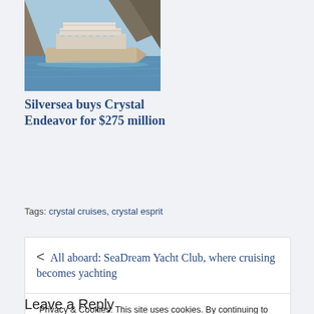[Figure (photo): A cruise ship sailing on blue water near rocky cliffs]
Silversea buys Crystal Endeavor for $275 million
Tags: crystal cruises, crystal esprit
< All aboard: SeaDream Yacht Club, where cruising becomes yachting
Privacy & Cookies: This site uses cookies. By continuing to use this website, you agree to their use.
To find out more, including how to control cookies, see here:
Cookie Policy
Close and accept
Leave a Reply